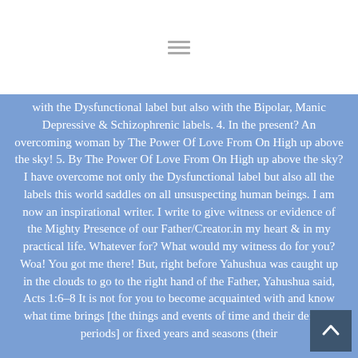with the Dysfunctional label but also with the Bipolar, Manic Depressive & Schizophrenic labels. 4. In the present? An overcoming woman by The Power Of Love From On High up above the sky! 5. By The Power Of Love From On High up above the sky? I have overcome not only the Dysfunctional label but also all the labels this world saddles on all unsuspecting human beings. I am now an inspirational writer. I write to give witness or evidence of the Mighty Presence of our Father/Creator.in my heart & in my practical life. Whatever for? What would my witness do for you? Woa! You got me there! But, right before Yahushua was caught up in the clouds to go to the right hand of the Father, Yahushua said, Acts 1:6-8 It is not for you to become acquainted with and know what time brings [the things and events of time and their definite periods] or fixed years and seasons (their